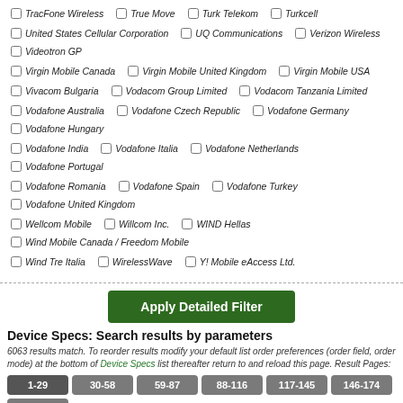TracFone Wireless
True Move
Turk Telekom
Turkcell
United States Cellular Corporation
UQ Communications
Verizon Wireless
Videotron GP
Virgin Mobile Canada
Virgin Mobile United Kingdom
Virgin Mobile USA
Vivacom Bulgaria
Vodacom Group Limited
Vodacom Tanzania Limited
Vodafone Australia
Vodafone Czech Republic
Vodafone Germany
Vodafone Hungary
Vodafone India
Vodafone Italia
Vodafone Netherlands
Vodafone Portugal
Vodafone Romania
Vodafone Spain
Vodafone Turkey
Vodafone United Kingdom
Wellcom Mobile
Willcom Inc.
WIND Hellas
Wind Mobile Canada / Freedom Mobile
Wind Tre Italia
WirelessWave
Y! Mobile eAccess Ltd.
Apply Detailed Filter
Device Specs: Search results by parameters
6063 results match. To reorder results modify your default list order preferences (order field, order mode) at the bottom of Device Specs list thereafter return to and reload this page. Result Pages:
1-29 | 30-58 | 59-87 | 88-116 | 117-145 | 146-174 | 175-203 | 204-232 | 233-261 | 262-290 | 291-319 | 320-348 | 349-377 | 378-406 | 407-435 | 436-464 | 465-493 | 494-522 | 523-551 | 552-580 | 581-609 | 610-638 | 639-667 | 668-696 | 697-725